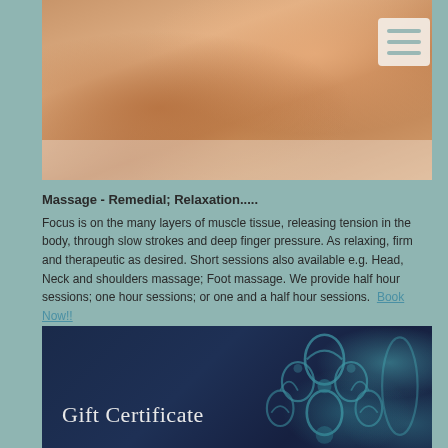[Figure (photo): Close-up photo of a massage therapist's hands performing a back massage on a client lying on a massage table with white towels]
Massage - Remedial; Relaxation.....
Focus is on the many layers of muscle tissue, releasing tension in the body, through slow strokes and deep finger pressure. As relaxing, firm and therapeutic as desired. Short sessions also available e.g. Head, Neck and shoulders massage; Foot massage. We provide half hour sessions; one hour sessions; or one and a half hour sessions.  Book Now!!
[Figure (photo): Gift Certificate card with dark navy blue background and teal/turquoise decorative floral pattern on the right side, with white text reading 'Gift Certificate']